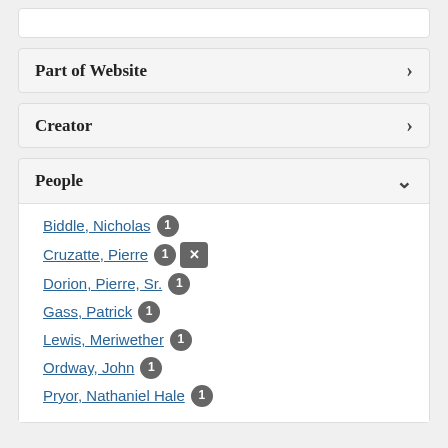Part of Website
Creator
People
Biddle, Nicholas 1
Cruzatte, Pierre 1 ×
Dorion, Pierre, Sr. 1
Gass, Patrick 1
Lewis, Meriwether 1
Ordway, John 1
Pryor, Nathaniel Hale 1